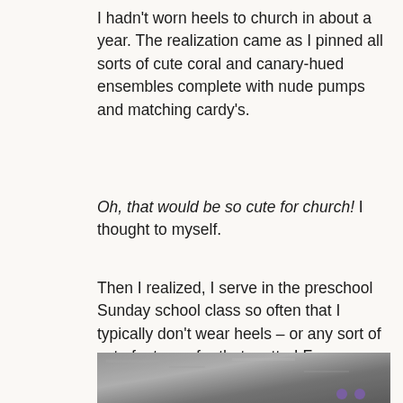I hadn't worn heels to church in about a year. The realization came as I pinned all sorts of cute coral and canary-hued ensembles complete with nude pumps and matching cardy's.
Oh, that would be so cute for church! I thought to myself.
Then I realized, I serve in the preschool Sunday school class so often that I typically don't wear heels – or any sort of cute footwear for that matter! For instance, this Sunday I served the toddlers. My outfit? Our church T-shirt, jeans, and running shoes.
[Figure (photo): A photo showing what appears to be a textured outdoor surface, possibly pavement or gravel, with partial view of shoes at the bottom edge. Two small purple dots visible at bottom right.]